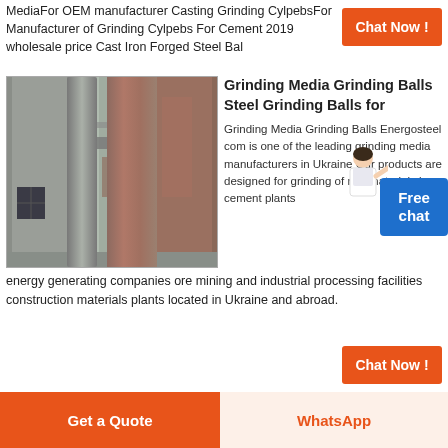MediaFor OEM manufacturer Casting Grinding CylpebsFor Manufacturer of Grinding Cylpebs For Cement 2019 wholesale price Cast Iron Forged Steel Bal
Chat Now !
[Figure (photo): Industrial photo showing large cylindrical concrete or steel silos/columns of a cement plant or industrial facility, viewed from below against a sky background.]
Grinding Media Grinding Balls Steel Grinding Balls for
Grinding Media Grinding Balls Energosteel com is one of the leading grinding media manufacturers in Ukraine Our products are designed for grinding of raw materials by cement plants energy generating companies ore mining and industrial processing facilities construction materials plants located in Ukraine and abroad.
Free chat
Chat Now !
Get a Quote
WhatsApp